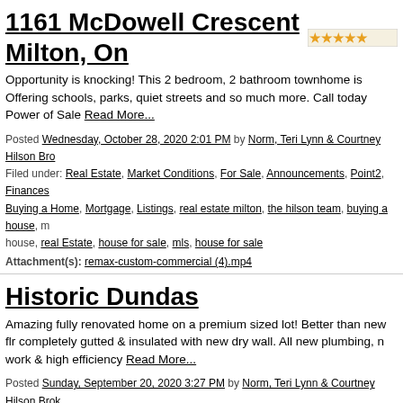1161 McDowell Crescent Milton, On ★★★★★
Opportunity is knocking! This 2 bedroom, 2 bathroom townhome is Offering schools, parks, quiet streets and so much more. Call today Power of Sale Read More...
Posted Wednesday, October 28, 2020 2:01 PM by Norm, Teri Lynn & Courtney Hilson Bro Filed under: Real Estate, Market Conditions, For Sale, Announcements, Point2, Finances Buying a Home, Mortgage, Listings, real estate milton, the hilson team, buying a house, m house, real Estate, house for sale, mls, house for sale
Attachment(s): remax-custom-commercial (4).mp4
Historic Dundas
Amazing fully renovated home on a premium sized lot! Better than new flr completely gutted & insulated with new dry wall. All new plumbing, n work & high efficiency Read More...
Posted Sunday, September 20, 2020 3:27 PM by Norm, Teri Lynn & Courtney Hilson Brok Filed under: Real Estate, Market Conditions, For Sale, Open Houses, Announcements, Pr Mortgages, Buying a Home, Mortgage, Listings, the hilson team, buying a house, top pro sale, mls, house for sale
169 Harvest Drive Milton, On
Coming Soon 4 level back-split completely upgraded with newer kitche